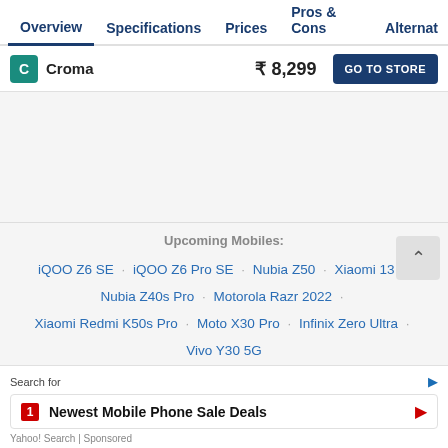Overview  Specifications  Prices  Pros & Cons  Alternat
| Store | Price | Action |
| --- | --- | --- |
| Croma | ₹ 8,299 | GO TO STORE |
Upcoming Mobiles: iQOO Z6 SE · iQOO Z6 Pro SE · Nubia Z50 · Xiaomi 13 · Nubia Z40s Pro · Motorola Razr 2022 · Xiaomi Redmi K50s Pro · Moto X30 Pro · Infinix Zero Ultra · Vivo Y30 5G
Latest Mobile Benchmarks:
Search for
1 Newest Mobile Phone Sale Deals
Yahoo! Search | Sponsored